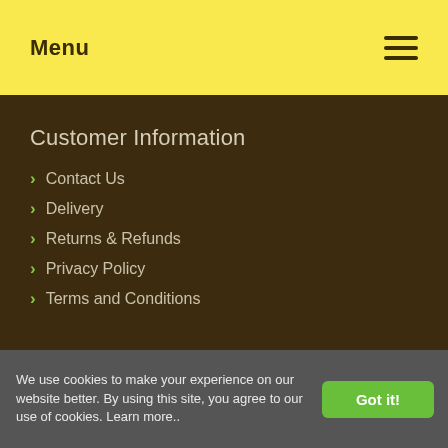Menu
Customer Information
Contact Us
Delivery
Returns & Refunds
Privacy Policy
Terms and Conditions
We use cookies to make your experience on our website better. By using this site, you agree to our use of cookies. Learn more..